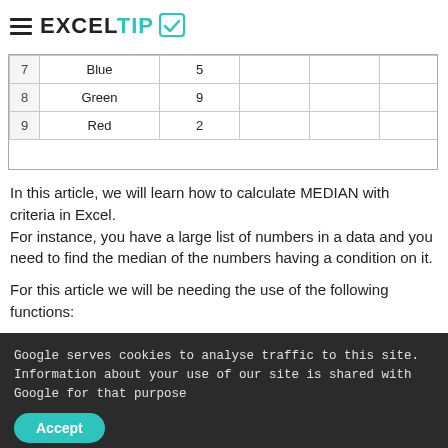EXCELTIP
[Figure (screenshot): Excel spreadsheet screenshot showing rows 7-9 with columns: row numbers, color names (Blue, Green, Red), and values (5, 9, 2), with additional empty columns to the right.]
In this article, we will learn how to calculate MEDIAN with criteria in Excel.
For instance, you have a large list of numbers in a data and you need to find the median of the numbers having a condition on it.
For this article we will be needing the use of the following functions:
1. IF Function
Google serves cookies to analyse traffic to this site. Information about your use of our site is shared with Google for that purpose